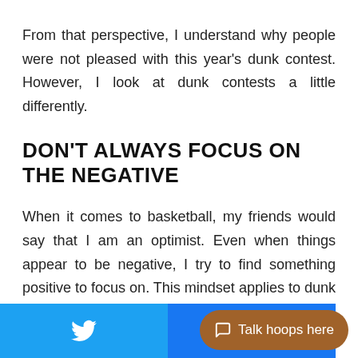From that perspective, I understand why people were not pleased with this year's dunk contest. However, I look at dunk contests a little differently.
DON'T ALWAYS FOCUS ON THE NEGATIVE
When it comes to basketball, my friends would say that I am an optimist. Even when things appear to be negative, I try to find something positive to focus on. This mindset applies to dunk contests as well. Even if the contest itself is a little underwhelming, if there is